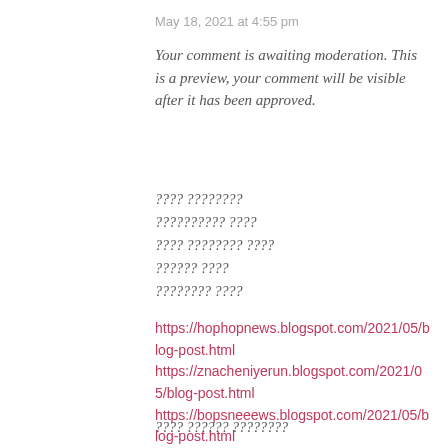May 18, 2021 at 4:55 pm
Your comment is awaiting moderation. This is a preview, your comment will be visible after it has been approved.
???? ????????
?????????? ????
???? ???????? ????
?????? ????
???????? ????
https://hophopnews.blogspot.com/2021/05/blog-post.html
https://znacheniyerun.blogspot.com/2021/05/blog-post.html
https://bopsneeews.blogspot.com/2021/05/blog-post.html
???? ?????? ????????